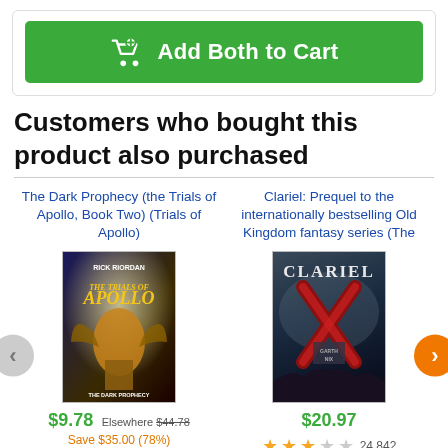[Figure (screenshot): Green 'Add Both to Cart' button with shopping cart icon]
Customers who bought this product also purchased
The Dark Prophecy (the Trials of Apollo, Book Two) (Trials of Apollo)
Clariel: Prequel to the internationally bestselling Old Kingdom fantasy series (The
[Figure (photo): Book cover: The Trials of Apollo - The Dark Prophecy by Rick Riordan]
[Figure (photo): Book cover: Clariel by Garth Nix]
$9.78 Elsewhere $44.78 Save $35.00 (78%)
$20.97